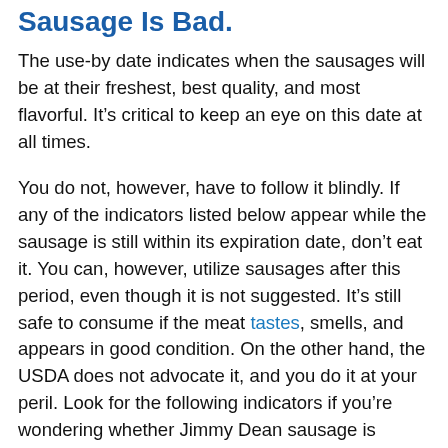Sausage Is Bad.
The use-by date indicates when the sausages will be at their freshest, best quality, and most flavorful. It’s critical to keep an eye on this date at all times.
You do not, however, have to follow it blindly. If any of the indicators listed below appear while the sausage is still within its expiration date, don’t eat it. You can, however, utilize sausages after this period, even though it is not suggested. It’s still safe to consume if the meat tastes, smells, and appears in good condition. On the other hand, the USDA does not advocate it, and you do it at your peril. Look for the following indicators if you’re wondering whether Jimmy Dean sausage is terrible.